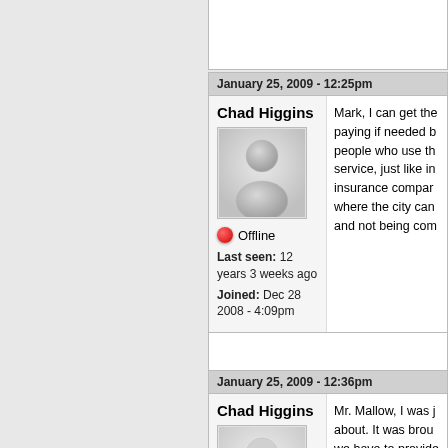January 25, 2009 - 12:25pm
Chad Higgins
[Figure (illustration): Generic user avatar icon (gray silhouette of a person)]
Offline
Last seen: 12 years 3 weeks ago
Joined: Dec 28 2008 - 4:09pm
Mark, I can get the paying if needed b people who use th service, just like in insurance compar where the city can and not being com
January 25, 2009 - 12:36pm
Chad Higgins
Mr. Mallow, I was j about. It was brou we have to provide going to offer the  and other citizens service has been s plan for the reside